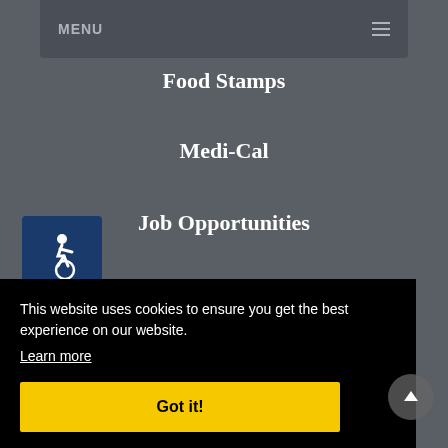MENU
Food Stamps
Medi-Cal
Job Opportunities
CONNECT
[Figure (illustration): Accessibility icon — wheelchair user symbol on dark blue square background]
CONTACT US
Email Us
This website uses cookies to ensure you get the best experience on our website.
Learn more
Got it!